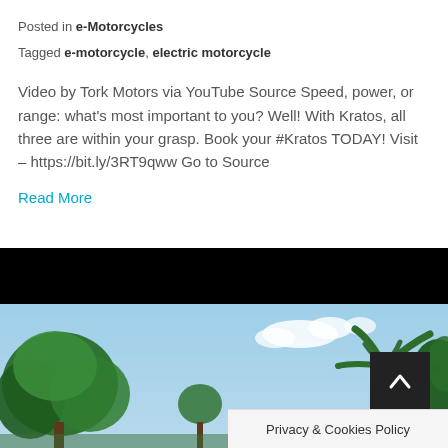Posted in e-Motorcycles
Tagged e-motorcycle, electric motorcycle
Video by Tork Motors via YouTube Source Speed, power, or range: what's most important to you? Well! With Kratos, all three are within your grasp. Book your #Kratos TODAY! Visit – https://bit.ly/3RT9qww Go to Source
Read More
[Figure (photo): Black bar at top followed by outdoor scene with blue sky and trees (palm and leafy trees), with a dark scroll-to-top button and Privacy & Cookies Policy bar overlay at bottom right]